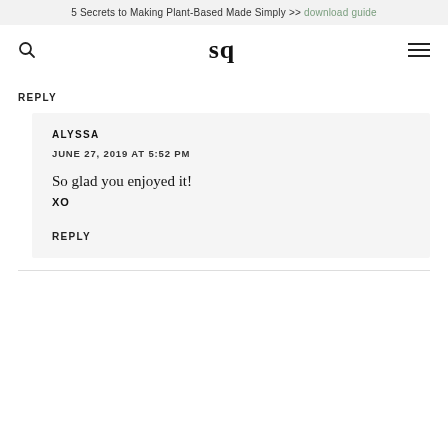5 Secrets to Making Plant-Based Made Simply >> download guide
[Figure (logo): Navigation bar with search icon, 'sq' logo, and hamburger menu icon]
REPLY
ALYSSA
JUNE 27, 2019 AT 5:52 PM
So glad you enjoyed it!
XO
REPLY